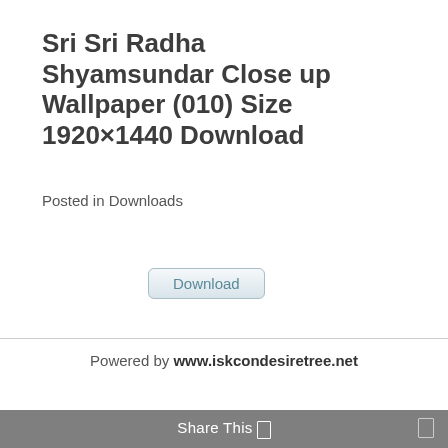Sri Sri Radha Shyamsundar Close up Wallpaper (010) Size 1920×1440 Download
Posted in Downloads
[Figure (other): A download button with rounded corners and light blue-grey styling]
Powered by www.iskcondesiretree.net
Share This